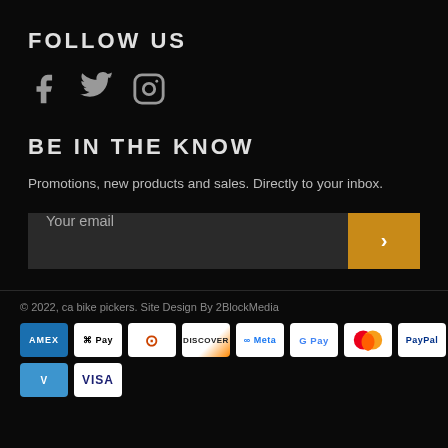FOLLOW US
[Figure (illustration): Social media icons: Facebook, Twitter, Instagram]
BE IN THE KNOW
Promotions, new products and sales. Directly to your inbox.
[Figure (other): Email signup input field with orange submit button showing chevron arrow]
© 2022, ca bike pickers. Site Design By 2BlockMedia
[Figure (other): Payment method icons: Amex, Apple Pay, Diners Club, Discover, Meta Pay, Google Pay, Mastercard, PayPal, OPay, Venmo, Visa]